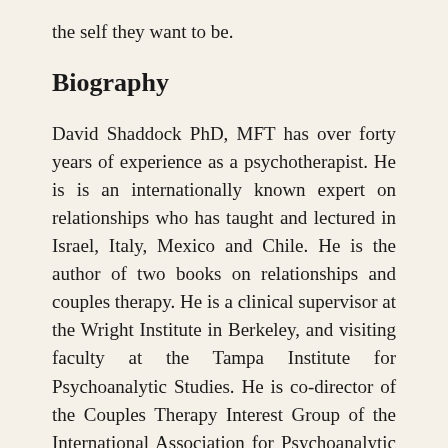the self they want to be.
Biography
David Shaddock PhD, MFT has over forty years of experience as a psychotherapist. He is is an internationally known expert on relationships who has taught and lectured in Israel, Italy, Mexico and Chile. He is the author of two books on relationships and couples therapy. He is a clinical supervisor at the Wright Institute in Berkeley, and visiting faculty at the Tampa Institute for Psychoanalytic Studies. He is co-director of the Couples Therapy Interest Group of the International Association for Psychoanalytic Self Psychology. He is the author of three